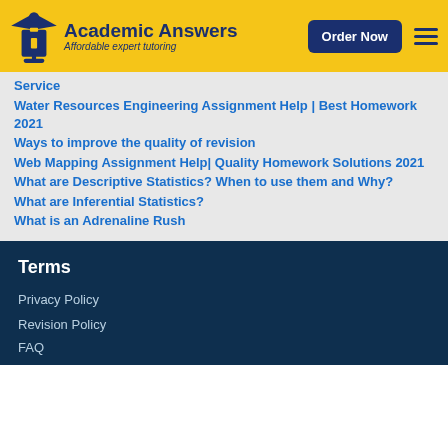Academic Answers | Affordable expert tutoring | Order Now
Service
Water Resources Engineering Assignment Help | Best Homework 2021
Ways to improve the quality of revision
Web Mapping Assignment Help| Quality Homework Solutions 2021
What are Descriptive Statistics? When to use them and Why?
What are Inferential Statistics?
What is an Adrenaline Rush
Terms
Privacy Policy
Revision Policy
FAQ